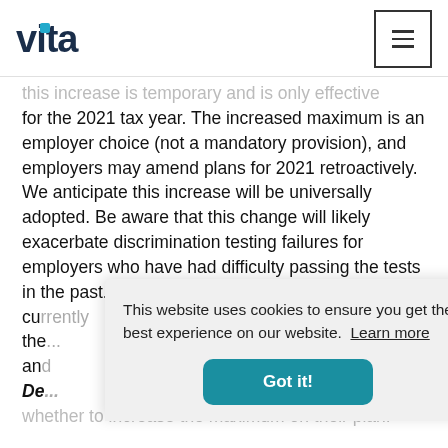vita
this increase is temporary and is only effective for the 2021 tax year. The increased maximum is an employer choice (not a mandatory provision), and employers may amend plans for 2021 retroactively. We anticipate this increase will be universally adopted. Be aware that this change will likely exacerbate discrimination testing failures for employers who have had difficulty passing the tests in the past. We also anticipate that... currently... the... and...
De...
whether to increase the maximum on their plan.
This website uses cookies to ensure you get the best experience on our website. Learn more
Got it!